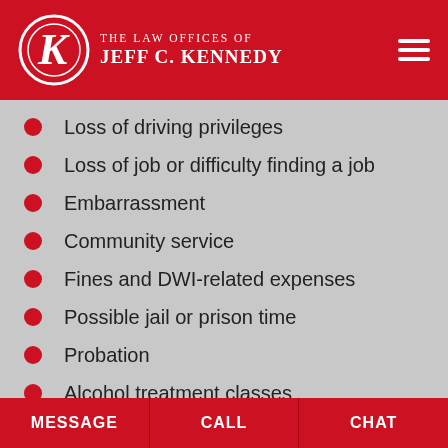The Law Offices of Jeff C. Kennedy
Loss of driving privileges
Loss of job or difficulty finding a job
Embarrassment
Community service
Fines and DWI-related expenses
Possible jail or prison time
Probation
Alcohol treatment classes
Ignition interlock device
MESSAGE | CALL | CHAT